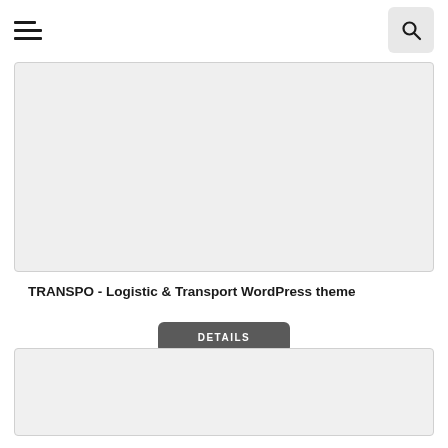[Figure (screenshot): Gray placeholder card image area for TRANSPO WordPress theme]
TRANSPO - Logistic & Transport WordPress theme
DETAILS
[Figure (screenshot): Gray placeholder card image area for a second WordPress theme item]